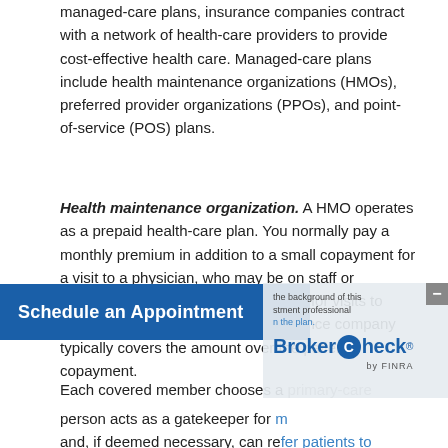managed-care plans, insurance companies contract with a network of health-care providers to provide cost-effective health care. Managed-care plans include health maintenance organizations (HMOs), preferred provider organizations (PPOs), and point-of-service (POS) plans.
Health maintenance organization. A HMO operates as a prepaid health-care plan. You normally pay a monthly premium in addition to a small copayment for a visit to a physician, who may be on staff or contracted by the HMO. Copayments for visits to specialists may be higher. The insurance company typically covers the amount over the patient's copayment.
Each covered member chooses a primary-care physician who is listed in the plan. This person acts as a gatekeeper for medical care and, if deemed necessary, can refer patients to specialists who are on the HMO's list of providers.